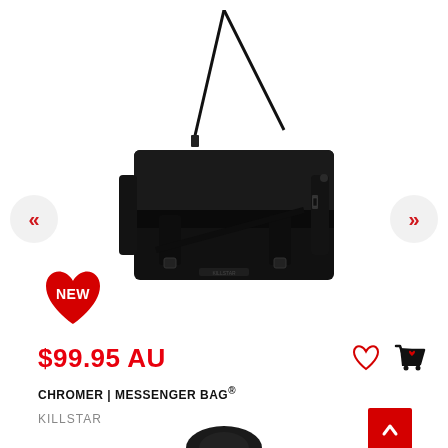[Figure (photo): Black Chromer messenger bag with shoulder strap, viewed from the front on white background]
[Figure (illustration): Red heart-shaped NEW badge]
$99.95 AU
CHROMER | MESSENGER BAG®
KILLSTAR
[Figure (illustration): Back to top red button with upward chevron]